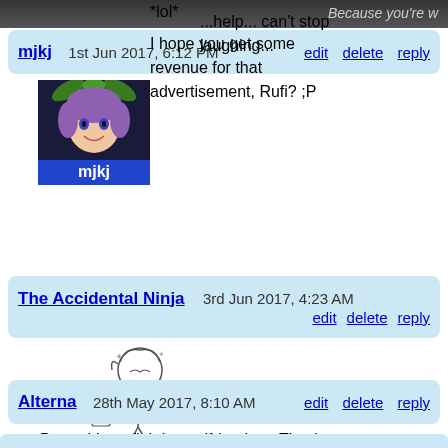[Figure (screenshot): Partial top image strip with text 'Because you're w' visible on dark background]
mjkj   1st Jun 2017, 6:12 PM   edit  delete  reply
[Figure (illustration): Avatar image of mjkj - purple-haired anime fairy character with blue name tag]
*lol*

I hope you get some revenue for that advertisement, Rufi? ;P
The Accidental Ninja   3rd Jun 2017, 4:23 AM   edit  delete  reply
[Figure (illustration): Sketch of an anime character laughing and stumbling/dancing]
...help... can't stop laughing...
Alterna   28th May 2017, 8:10 AM   edit  delete  reply
Dang, I hate fighting self-healers. They're such a pain.